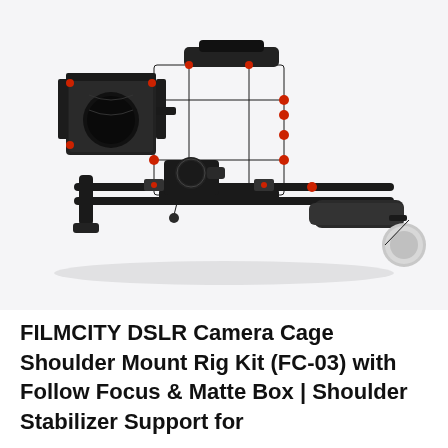[Figure (photo): FILMCITY DSLR Camera Cage Shoulder Mount Rig Kit (FC-03) with Follow Focus and Matte Box. The product is a black camera rig system with red accent screws/knobs, featuring a matte box on the left, a camera cage in the center, follow focus mechanism, dual rod rails, shoulder pad, and a counterweight cylinder on the right. Photographed on a white/light grey background.]
FILMCITY DSLR Camera Cage Shoulder Mount Rig Kit (FC-03) with Follow Focus & Matte Box | Shoulder Stabilizer Support for